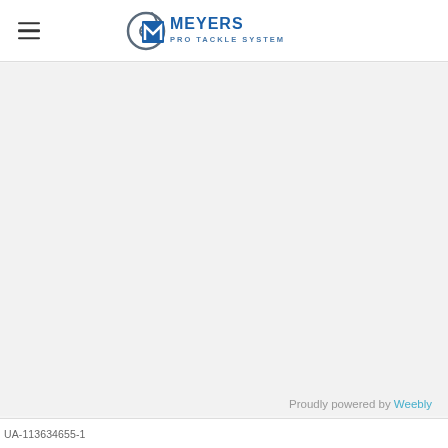Meyers Pro Tackle System
[Figure (logo): Meyers Pro Tackle System logo with stylized M and fishing hook icon in blue, alongside text MEYERS PRO TACKLE SYSTEM]
Proudly powered by Weebly
UA-113634655-1